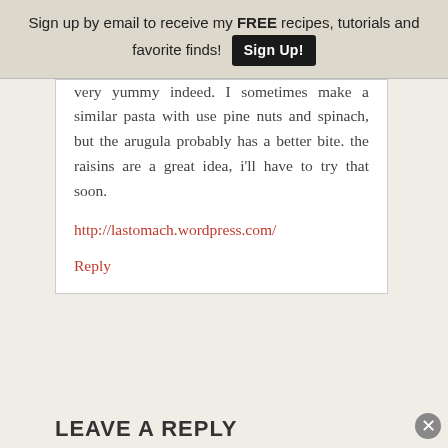Sign up by email to receive my FREE recipes, tutorials and favorite finds! Sign Up!
very yummy indeed. I sometimes make a similar pasta with use pine nuts and spinach, but the arugula probably has a better bite. the raisins are a great idea, i'll have to try that soon.
http://lastomach.wordpress.com/
Reply
LEAVE A REPLY